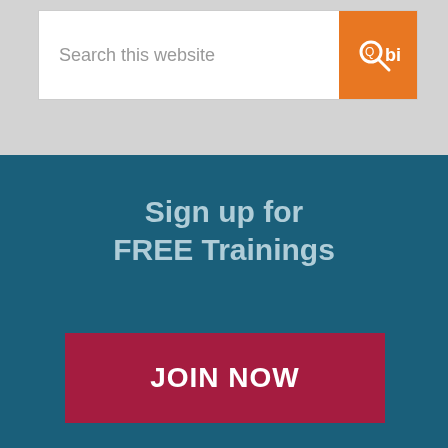[Figure (screenshot): Search bar with placeholder text 'Search this website' and an orange submit button with a magnifying glass icon on the right]
Sign up for FREE Trainings
JOIN NOW